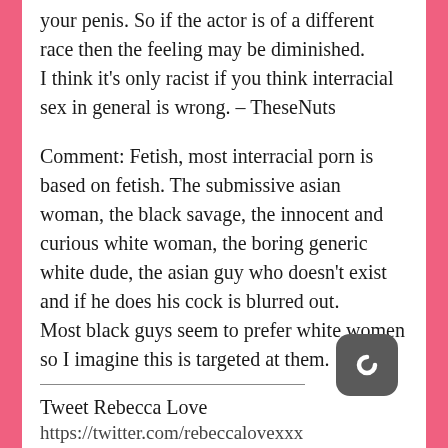your penis. So if the actor is of a different race then the feeling may be diminished.
I think it's only racist if you think interracial sex in general is wrong. – TheseNuts
Comment: Fetish, most interracial porn is based on fetish. The submissive asian woman, the black savage, the innocent and curious white woman, the boring generic white dude, the asian guy who doesn't exist and if he does his cock is blurred out.
Most black guys seem to prefer white women so I imagine this is targeted at them.
Tweet Rebecca Love
https://twitter.com/rebeccalovexxx